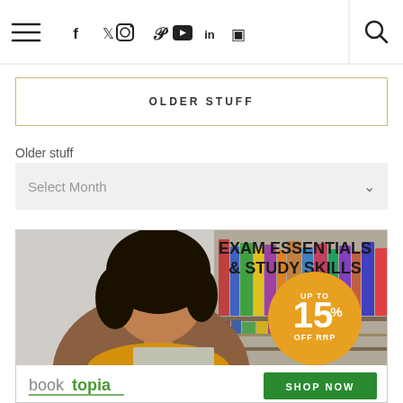[Figure (screenshot): Website navigation bar with hamburger menu, social media icons (Facebook, Twitter, Instagram, Pinterest, YouTube, LinkedIn, RSS), and a search icon on the right separated by a vertical border.]
OLDER STUFF
Older stuff
Select Month
[Figure (illustration): Booktopia advertisement banner. Top section shows 'EXAM ESSENTIALS & STUDY SKILLS' in bold black text over a grey background with a photo of a smiling young woman in a yellow top seated at a laptop in front of bookshelves, and a yellow circle badge reading 'UP TO 15% OFF RRP'. Bottom white bar shows the Booktopia logo in grey and green, and a green 'SHOP NOW' button.]